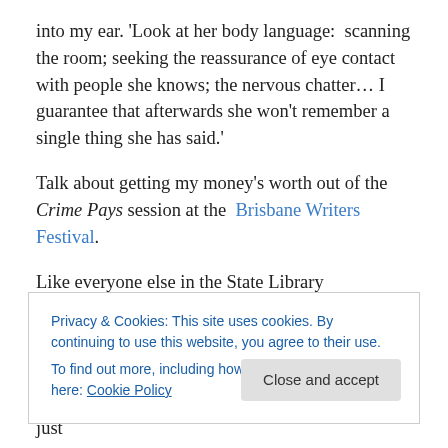into my ear. ‘Look at her body language:  scanning the room; seeking the reassurance of eye contact with people she knows; the nervous chatter… I guarantee that afterwards she won’t remember a single thing she has said.’
Talk about getting my money’s worth out of the Crime Pays session at the  Brisbane Writers Festival.
Like everyone else in the State Library auditorium, I was there for crime writing tips from international best-sellers
Privacy & Cookies: This site uses cookies. By continuing to use this website, you agree to their use.
To find out more, including how to control cookies, see here: Cookie Policy
Amy working in the Intelligence Corps, and has just